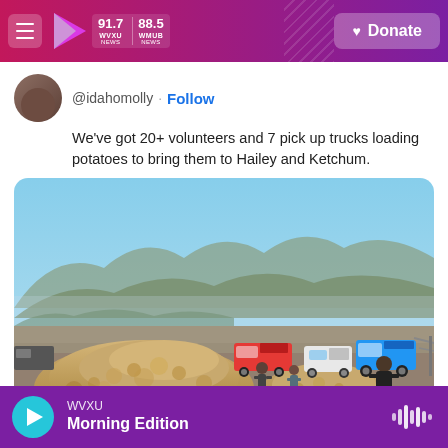91.7 WVXU NEWS | 88.5 WHUB NEWS | Donate
@idahomolly · Follow
We've got 20+ volunteers and 7 pick up trucks loading potatoes to bring them to Hailey and Ketchum.
[Figure (photo): Outdoor scene with large piles of potatoes on the ground, several pickup trucks parked in the background, volunteers loading potatoes, mountains and blue sky visible in the background.]
WVXU Morning Edition